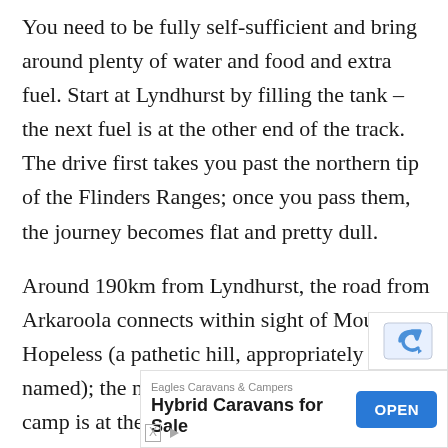You need to be fully self-sufficient and bring around plenty of water and food and extra fuel. Start at Lyndhurst by filling the tank – the next fuel is at the other end of the track. The drive first takes you past the northern tip of the Flinders Ranges; once you pass them, the journey becomes flat and pretty dull.
Around 190km from Lyndhurst, the road from Arkaroola connects within sight of Mount Hopeless (a pathetic hill, appropriately named); the next place to stop and perhaps camp is at the hot outflow from Montecollina Bore, 30km on. From here the scenery improves slightly as the road runs between dunes, and it's hard to resist leaving footprints along o
[Figure (other): Advertisement banner for Eagles Caravans & Campers showing 'Hybrid Caravans for Sale' with an OPEN button, plus an reCAPTCHA-style icon in the top right corner.]